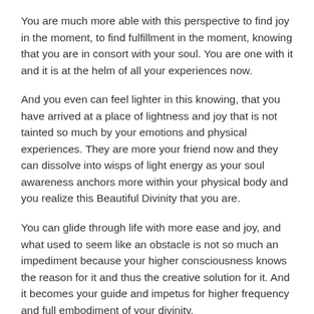You are much more able with this perspective to find joy in the moment, to find fulfillment in the moment, knowing that you are in consort with your soul. You are one with it and it is at the helm of all your experiences now.
And you even can feel lighter in this knowing, that you have arrived at a place of lightness and joy that is not tainted so much by your emotions and physical experiences. They are more your friend now and they can dissolve into wisps of light energy as your soul awareness anchors more within your physical body and you realize this Beautiful Divinity that you are.
You can glide through life with more ease and joy, and what used to seem like an obstacle is not so much an impediment because your higher consciousness knows the reason for it and thus the creative solution for it. And it becomes your guide and impetus for higher frequency and full embodiment of your divinity.